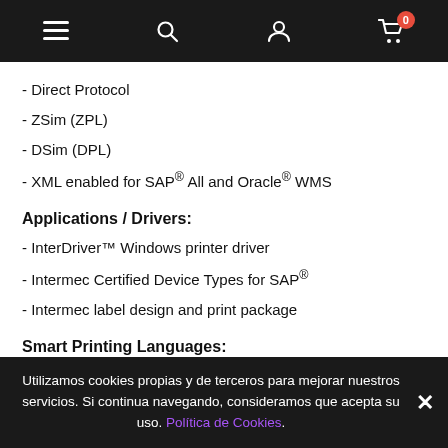Navigation bar with menu, search, account, and cart icons
- Direct Protocol
- ZSim (ZPL)
- DSim (DPL)
- XML enabled for SAP® All and Oracle® WMS
Applications / Drivers:
- InterDriver™ Windows printer driver
- Intermec Certified Device Types for SAP®
- Intermec label design and print package
Smart Printing Languages:
C# for Printers
Utilizamos cookies propias y de terceros para mejorar nuestros servicios. Si continua navegando, consideramos que acepta su uso. Política de Cookies.